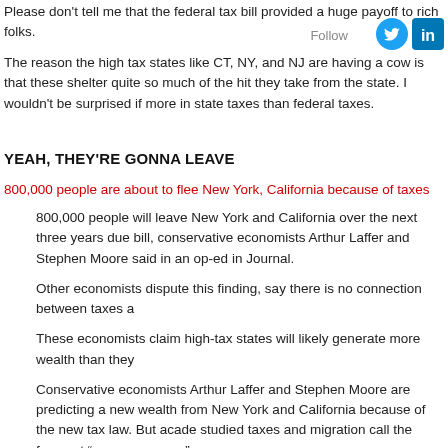Please don't tell me that the federal tax bill provided a huge payoff to rich folks.
Follow
[Figure (logo): Twitter bird icon (blue circle)]
[Figure (logo): LinkedIn icon (blue square with 'in')]
The reason the high tax states like CT, NY, and NJ are having a cow is that these shelter quite so much of the hit they take from the state. I wouldn't be surprised if more in state taxes than federal taxes.
YEAH, THEY'RE GONNA LEAVE
800,000 people are about to flee New York, California because of taxes
800,000 people will leave New York and California over the next three years due bill, conservative economists Arthur Laffer and Stephen Moore said in an op-ed in Journal.
Other economists dispute this finding, say there is no connection between taxes a
These economists claim high-tax states will likely generate more wealth than they
Conservative economists Arthur Laffer and Stephen Moore are predicting a new wealth from New York and California because of the new tax law. But acade studied taxes and migration call the forecast “pure nonsense.”
In an op-ed in the Wall Street Journal headlined “So Long, California. Sayon Laffer and Moore (who have both advised President Donald Trump) say the cause a net 800,000 people to move out of California and New York over the next
The tax changes limit the deduction of state and local taxes to $10,000, so ma taxpayers in high-tax states will actually face a tax increase under the new tax